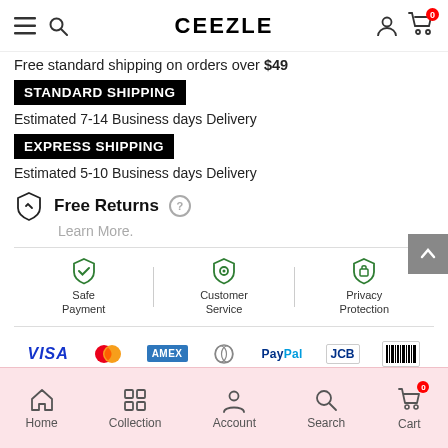CEEZLE
Free standard shipping on orders over $49
STANDARD SHIPPING
Estimated 7-14 Business days Delivery
EXPRESS SHIPPING
Estimated 5-10 Business days Delivery
Free Returns
Learn More.
Safe Payment | Customer Service | Privacy Protection
[Figure (other): Payment method logos: VISA, Mastercard, AMEX, Diners Club, PayPal, JCB, Boleto]
Home | Collection | Account | Search | Cart